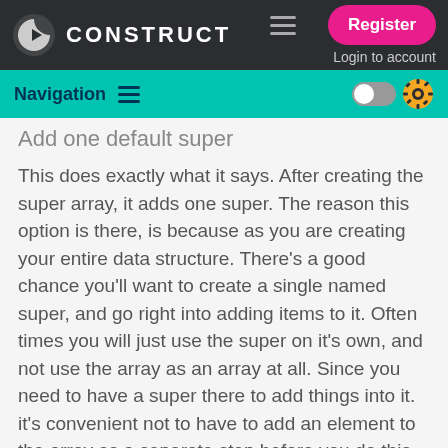CONSTRUCT | Register | Login to account
Navigation
Add one default super
This does exactly what it says. After creating the super array, it adds one super. The reason this option is there, is because as you are creating your entire data structure. There's a good chance you'll want to create a single named super, and go right into adding items to it. Often times you will just use the super on it's own, and not use the array as an array at all. Since you need to have a super there to add things into it. it's convenient not to have to add an element to the array as a separate step before you do this.
and the next text appears to be cut off at the bottom